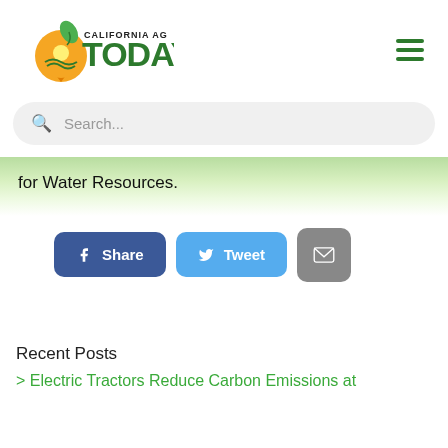[Figure (logo): California AG Today logo with orange map pin shape containing sun and fields, green TODAY text, and green leaf above]
[Figure (other): Hamburger menu icon with three green horizontal lines]
[Figure (other): Search bar with magnifying glass icon and placeholder text 'Search...']
for Water Resources.
[Figure (other): Share button (Facebook blue), Tweet button (Twitter blue), Email button (gray)]
Recent Posts
> Electric Tractors Reduce Carbon Emissions at